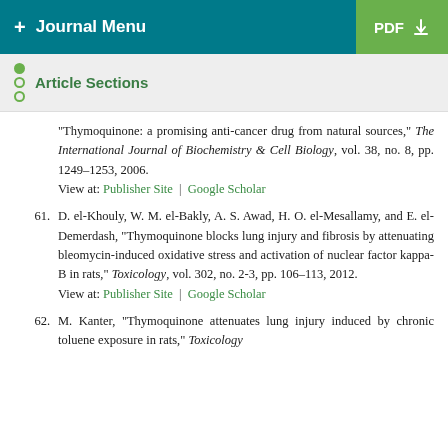+ Journal Menu | PDF
Article Sections
“Thymoquinone: a promising anti-cancer drug from natural sources,” The International Journal of Biochemistry & Cell Biology, vol. 38, no. 8, pp. 1249–1253, 2006.
View at: Publisher Site | Google Scholar
61. D. el-Khouly, W. M. el-Bakly, A. S. Awad, H. O. el-Mesallamy, and E. el-Demerdash, “Thymoquinone blocks lung injury and fibrosis by attenuating bleomycin-induced oxidative stress and activation of nuclear factor kappa-B in rats,” Toxicology, vol. 302, no. 2-3, pp. 106–113, 2012.
View at: Publisher Site | Google Scholar
62. M. Kanter, “Thymoquinone attenuates lung injury induced by chronic toluene exposure in rats,” Toxicology